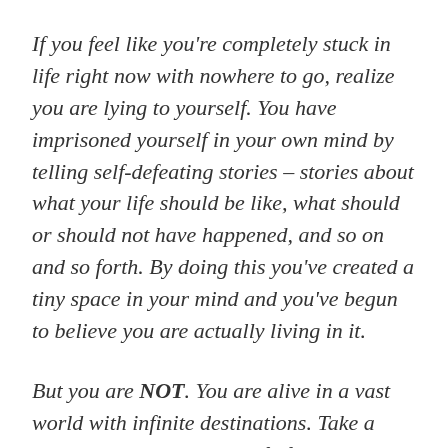If you feel like you're completely stuck in life right now with nowhere to go, realize you are lying to yourself. You have imprisoned yourself in your own mind by telling self-defeating stories – stories about what your life should be like, what should or should not have happened, and so on and so forth. By doing this you've created a tiny space in your mind and you've begun to believe you are actually living in it.
But you are NOT. You are alive in a vast world with infinite destinations. Take a moment to remind yourself of this. Go outside. Look at the sky and the clouds. THIS is the space in which you really live.